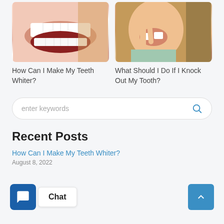[Figure (photo): Close-up photo of woman's mouth with white teeth, smiling open mouth]
[Figure (photo): Close-up photo of child losing a tooth, using fingers to wiggle tooth]
How Can I Make My Teeth Whiter?
What Should I Do If I Knock Out My Tooth?
enter keywords
Recent Posts
How Can I Make My Teeth Whiter?
August 8, 2022
Chat